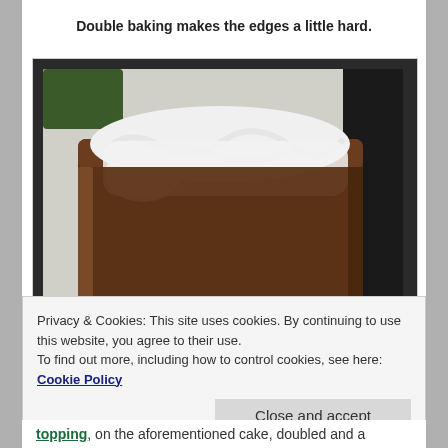Double baking makes the edges a little hard.
[Figure (photo): A rectangular chocolate loaf cake topped with white frosting/icing spread across the top, sitting on parchment paper in a baking pan. Background shows kitchen items out of focus.]
Privacy & Cookies: This site uses cookies. By continuing to use this website, you agree to their use.
To find out more, including how to control cookies, see here: Cookie Policy
Close and accept
topping, on the aforementioned cake, doubled and a